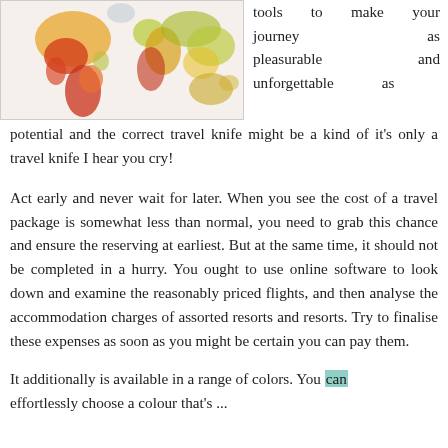[Figure (illustration): Colorful artistic world map illustration on a light/cream background]
tools to make your journey as pleasurable and unforgettable as potential and the correct travel knife might be a kind of it's only a travel knife I hear you cry!
Act early and never wait for later. When you see the cost of a travel package is somewhat less than normal, you need to grab this chance and ensure the reserving at earliest. But at the same time, it should not be completed in a hurry. You ought to use online software to look down and examine the reasonably priced flights, and then analyse the accommodation charges of assorted resorts and resorts. Try to finalise these expenses as soon as you might be certain you can pay them.
It additionally is available in a range of colors. You can effortlessly choose a colour that's ...